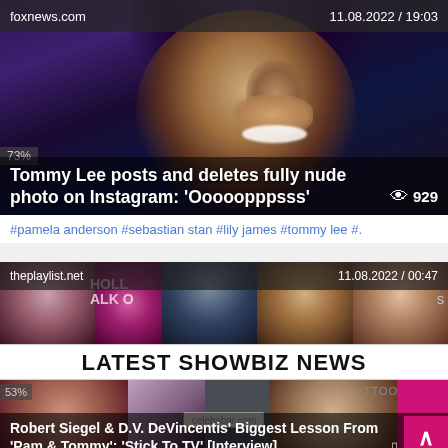foxnews.com   11.08.2022 / 19:03
[Figure (photo): Photo of Tommy Lee smiling with tattooed hand near face, purple stage lighting background]
Tommy Lee posts and deletes fully nude photo on Instagram: 'Ooooopppsss'
73%   929
#pamela anderson  #sebastian stan  #lily james  #tommy lee  #.
[Figure (photo): Collage banner image showing multiple celebrities including a woman with pink hair, Hollywood Walk of Fame star, man in tuxedo, blonde women in formal wear]
theplaylist.net   11.08.2022 / 00:47
LATEST SHOWBIZ NEWS
[Figure (photo): Bottom article image showing celebs with celebsbar.com watermark overlay]
Robert Siegel & D.V. DeVincentis' Biggest Lesson From 'Pam & Tommy': 'Stick To TV' [Interview]
53%